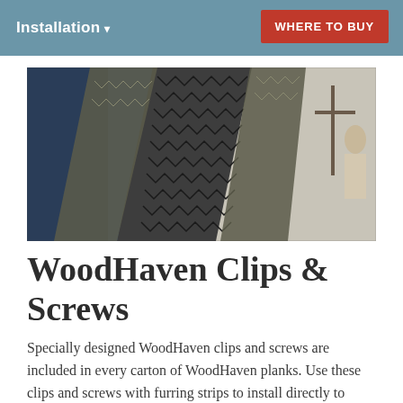Installation   WHERE TO BUY
[Figure (photo): Hero photo showing decorative ceiling installation with tribal-patterned tent/teepee shapes against a blue background, with a person visible on the right side.]
WoodHaven Clips & Screws
Specially designed WoodHaven clips and screws are included in every carton of WoodHaven planks. Use these clips and screws with furring strips to install directly to joists, plaster or drywall. Review the complete installation instructions above for important design and project considerations.